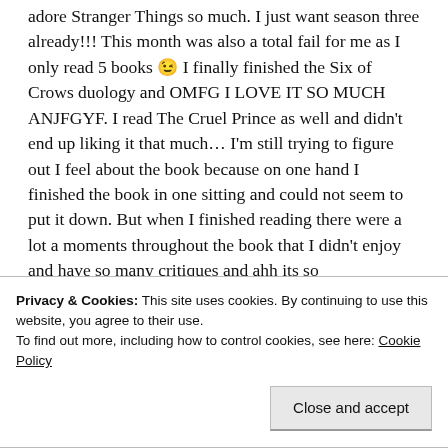adore Stranger Things so much. I just want season three already!!! This month was also a total fail for me as I only read 5 books 😉 I finally finished the Six of Crows duology and OMFG I LOVE IT SO MUCH ANJFGYF. I read The Cruel Prince as well and didn't end up liking it that much… I'm still trying to figure out I feel about the book because on one hand I finished the book in one sitting and could not seem to put it down. But when I finished reading there were a lot a moments throughout the book that I didn't enjoy and have so many critiques and ahh its so
Privacy & Cookies: This site uses cookies. By continuing to use this website, you agree to their use.
To find out more, including how to control cookies, see here: Cookie Policy
Close and accept